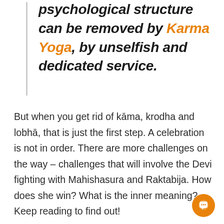psychological structure can be removed by Karma Yoga, by unselfish and dedicated service.
But when you get rid of kāma, krodha and lobhā, that is just the first step. A celebration is not in order. There are more challenges on the way – challenges that will involve the Devi fighting with Mahishasura and Raktabija. How does she win? What is the inner meaning? Keep reading to find out!